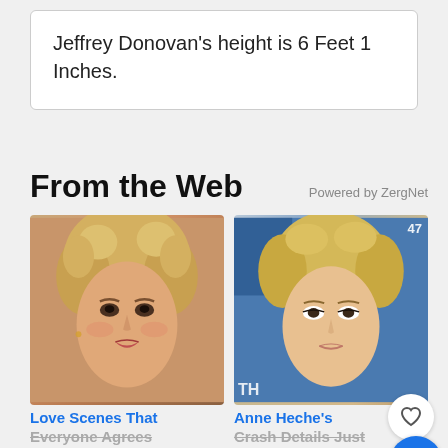Jeffrey Donovan's height is 6 Feet 1 Inches.
From the Web
Powered by ZergNet
[Figure (photo): Photo of a blonde woman with curly hair and makeup, warm-toned portrait]
Love Scenes That Everyone Agrees Took Things Too Far
[Figure (photo): Photo of Anne Heche, blonde woman at a formal event, blue background]
Anne Heche's Crash Details Just Went To Another Level